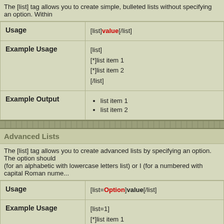The [list] tag allows you to create simple, bulleted lists without specifying an option. Within
|  |  |
| --- | --- |
| Usage | [list]value[/list] |
| Example Usage | [list]
[*]list item 1
[*]list item 2
[/list] |
| Example Output | • list item 1
• list item 2 |
Advanced Lists
The [list] tag allows you to create advanced lists by specifying an option. The option should (for an alphabetic with lowercase letters list) or I (for a numbered with capital Roman nume...
|  |  |
| --- | --- |
| Usage | [list=Option]value[/list] |
| Example Usage | [list=1]
[*]list item 1
[*]list item 2
[/list]

[list=a]
[*]list item 1
[*]list item 2
[/list] |